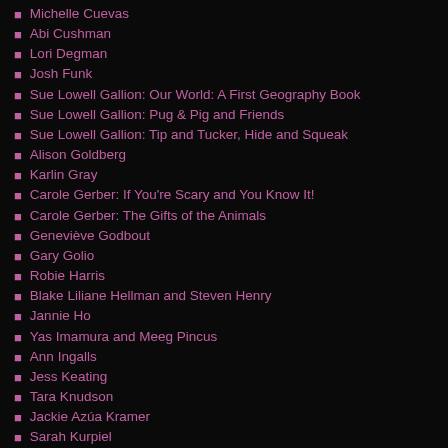Michelle Cuevas
Abi Cushman
Lori Degman
Josh Funk
Sue Lowell Gallion: Our World: A First Geography Book
Sue Lowell Gallion: Pug & Pig and Friends
Sue Lowell Gallion: Tip and Tucker, Hide and Squeak
Alison Goldberg
Karlin Gray
Carole Gerber: If You're Scary and You Know It!
Carole Gerber: The Gifts of the Animals
Geneviève Godbout
Gary Golio
Robie Harris
Blake Liliane Hellman and Steven Henry
Jannie Ho
Yas Imamura and Meeg Pincus
Ann Ingalls
Jess Keating
Tara Knudson
Jackie Azúa Kramer
Sarah Kurpiel
Heather Lang: The Leaf Detective